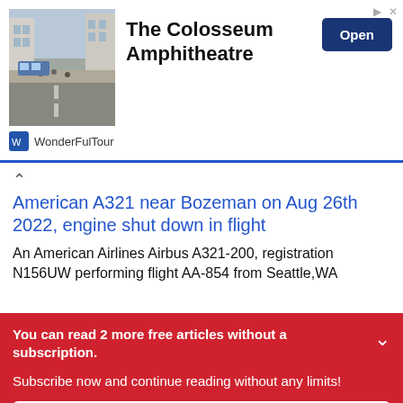[Figure (photo): Ad banner with street scene photo, showing The Colosseum Amphitheatre by WonderFulTour with an Open button]
American A321 near Bozeman on Aug 26th 2022, engine shut down in flight
An American Airlines Airbus A321-200, registration N156UW performing flight AA-854 from Seattle,WA
You can read 2 more free articles without a subscription.
Subscribe now and continue reading without any limits!
Subscribe now →
Are you a subscriber? Login